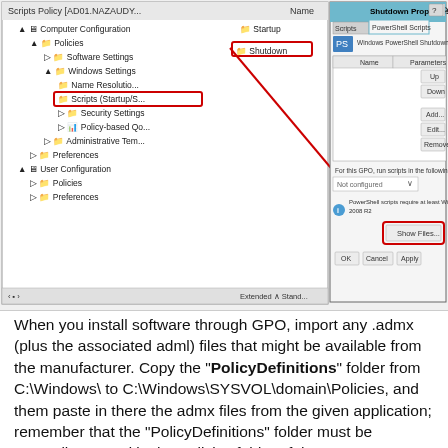[Figure (screenshot): Windows Group Policy Management Editor showing Scripts Policy with Shutdown node selected in the left tree, and a Shutdown Properties dialog open on the right showing the PowerShell Scripts tab. Red circles highlight 'Scripts (Startup/S' in the tree and 'Shutdown' in the Name column. A red arrow points from the tree to the 'Show Files...' button in the dialog. The dialog shows tabs for Scripts and PowerShell Scripts, a table with Name and Parameters columns, buttons Up/Down/Add.../Edit.../Remove, a dropdown 'Not configured', an info note about PowerShell scripts requiring Windows 7 or Windows Server 2008 R2, and OK/Cancel/Apply buttons.]
When you install software through GPO, import any .admx (plus the associated adml) files that might be available from the manufacturer. Copy the "PolicyDefinitions" folder from C:\Windows\ to C:\Windows\SYSVOL\domain\Policies, and them paste in there the admx files from the given application; remember that the "PolicyDefinitions" folder must be manually created in the Policies folder of the SYSVOL, otherwise it won't work. The adml (language) files go into